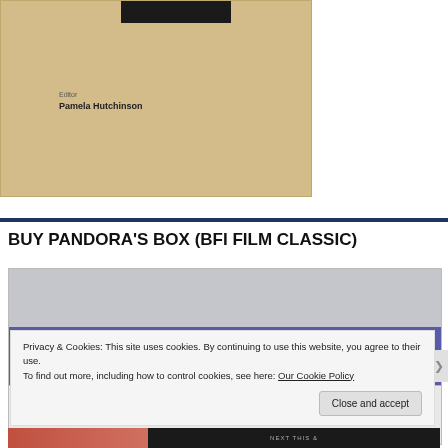[Figure (photo): Book cover for Pandora's Box BFI Film Classic, editor Pamela Hutchinson, tan/kraft paper colored background with black rectangle at top]
BUY PANDORA'S BOX (BFI FILM CLASSIC)
[Figure (screenshot): Book purchase widget showing BFI Film Classics branding with purple band, title PANDORA'S BOX by Pamela Hutchinson]
Privacy & Cookies: This site uses cookies. By continuing to use this website, you agree to their use.
To find out more, including how to control cookies, see here: Our Cookie Policy